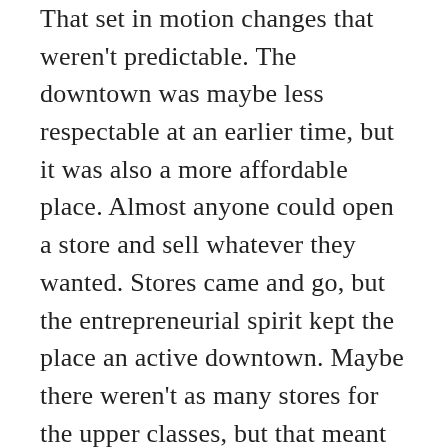That set in motion changes that weren't predictable. The downtown was maybe less respectable at an earlier time, but it was also a more affordable place. Almost anyone could open a store and sell whatever they wanted. Stores came and go, but the entrepreneurial spirit kept the place an active downtown. Maybe there weren't as many stores for the upper classes, but that meant there were more stores directed to us common folk.

I see the downtown becoming gentrified with high rises popping up beyond the small businesses. I...